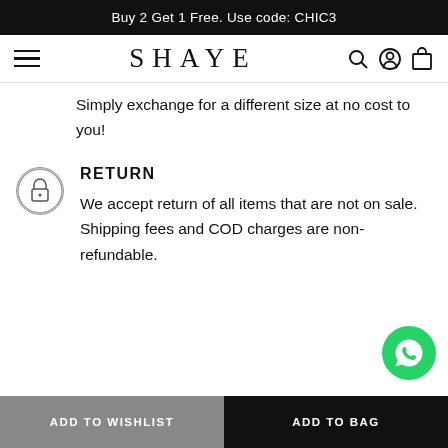Buy 2 Get 1 Free. Use code: CHIC3
[Figure (logo): SHAYE brand logo with hamburger menu icon on left and search, account, bag icons on right]
Simply exchange for a different size at no cost to you!
RETURN
We accept return of all items that are not on sale. Shipping fees and COD charges are non-refundable.
[Figure (other): Green WhatsApp floating button]
ADD TO WISHLIST  |  ADD TO BAG